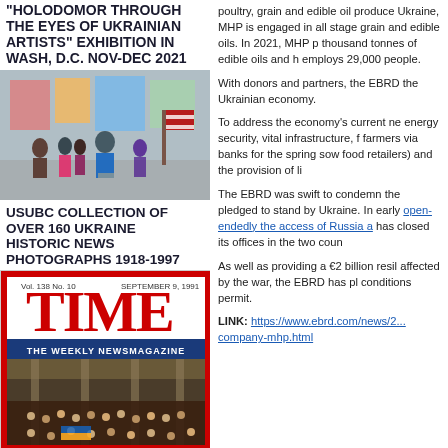"HOLODOMOR THROUGH THE EYES OF UKRAINIAN ARTISTS" EXHIBITION IN WASH, D.C. NOV-DEC 2021
[Figure (photo): Group of people at an exhibition opening, with artwork visible in the background and an American flag.]
USUBC COLLECTION OF OVER 160 UKRAINE HISTORIC NEWS PHOTOGRAPHS 1918-1997
[Figure (photo): TIME magazine cover dated September 9, 1991, Vol. 138 No. 10, 'The Weekly Newsmagazine', with a photo of a large assembly hall with people.]
poultry, grain and edible oil produced in Ukraine, MHP is engaged in all stages of grain and edible oils. In 2021, MHP p thousand tonnes of edible oils and h employs 29,000 people.
With donors and partners, the EBRD the Ukrainian economy.
To address the economy's current ne energy security, vital infrastructure, f farmers via banks for the spring sow food retailers) and the provision of li
The EBRD was swift to condemn the pledged to stand by Ukraine. In early open-endedly the access of Russia a has closed its offices in the two coun
As well as providing a €2 billion resil affected by the war, the EBRD has pl conditions permit.
LINK: https://www.ebrd.com/news/2... company-mhp.html